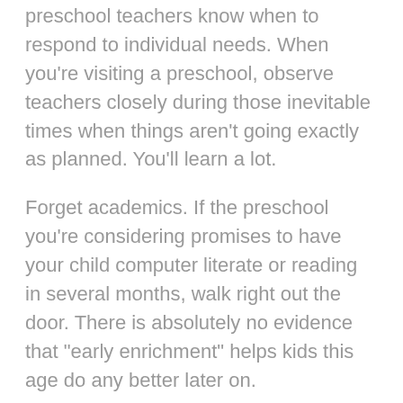preschool teachers know when to respond to individual needs. When you're visiting a preschool, observe teachers closely during those inevitable times when things aren't going exactly as planned. You'll learn a lot.
Forget academics. If the preschool you're considering promises to have your child computer literate or reading in several months, walk right out the door. There is absolutely no evidence that "early enrichment" helps kids this age do any better later on.
Don't be swayed by parents who crow about their preschooler's scholastic milestones. Consider instead the growing number of little kids who show up at the pediatrician's office with headaches, stomach aches and sleeping disorders. The hurried child syndrome is real.
Imaginary play is as important to preschoolers as the air they breathe. Are they working at a sand table? Playing